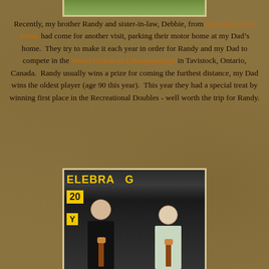[Figure (photo): Top portion of an outdoor photo, showing grass/greenery, partially cropped]
Recently, my brother Randy and sister-in-law, Debbie, from She Graces Her Home had come for another visit, parking their motor home at my Dad’s home.  They try to make it each year in order for Randy and my Dad to compete in the World Crokinole Championships in Tavistock, Ontario, Canada.  Randy usually wins a prize for coming the furthest distance, my Dad wins the oldest player (age 90 this year).  This year they had a special treat by winning first place in the Recreational Doubles - well worth the trip for Randy.
[Figure (photo): Two men standing side by side holding trophies in front of a dark banner reading CELEBRATING with yellow text and a yellow box reading 20 and Y, appears to be at the World Crokinole Championships award ceremony]